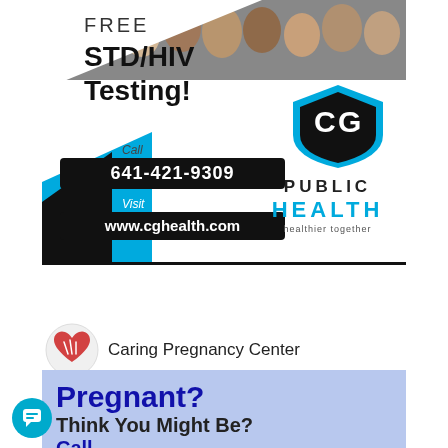[Figure (infographic): CG Public Health advertisement for Free STD/HIV Testing. Shows group photo at top, text 'FREE STD/HIV Testing!', phone number 641-421-9309, website www.cghealth.com, CG shield logo, and PUBLIC HEALTH / healthier together branding.]
[Figure (logo): Caring Pregnancy Center logo with red heart icon and organization name.]
Pregnant? Think You Might Be? Call